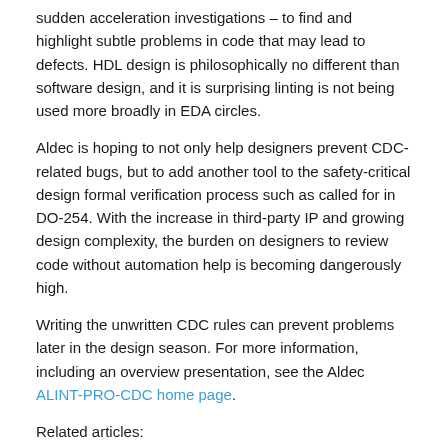sudden acceleration investigations – to find and highlight subtle problems in code that may lead to defects. HDL design is philosophically no different than software design, and it is surprising linting is not being used more broadly in EDA circles.
Aldec is hoping to not only help designers prevent CDC-related bugs, but to add another tool to the safety-critical design formal verification process such as called for in DO-254. With the increase in third-party IP and growing design complexity, the burden on designers to review code without automation help is becoming dangerously high.
Writing the unwritten CDC rules can prevent problems later in the design season. For more information, including an overview presentation, see the Aldec ALINT-PRO-CDC home page.
Related articles:
Dominating FPGA clock domains and CDCs
Share this post via:
[Figure (infographic): Four social media sharing icons: LinkedIn (blue circle with 'in'), Twitter (cyan circle with bird), Facebook (blue circle with 'f'), Email (black circle with envelope)]